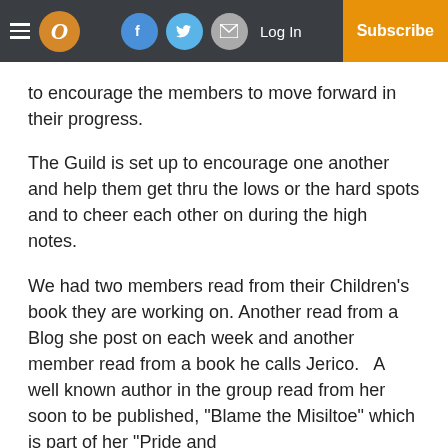Navigation bar with hamburger menu, O logo, Facebook, Twitter, Email social buttons, Log In, Subscribe
to encourage the members to move forward in their progress.
The Guild is set up to encourage one another and help them get thru the lows or the hard spots and to cheer each other on during the high notes.
We had two members read from their Children’s book they are working on. Another read from a Blog she post on each week and another member read from a book he calls Jerico.   A well known author in the group read from her soon to be published, “Blame the Misiltoe” which is part of her “Pride and